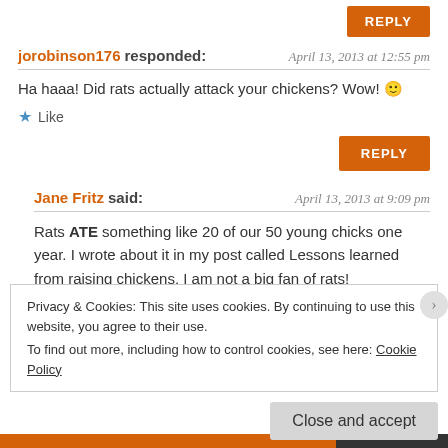jorobinson176 responded: April 13, 2013 at 12:55 pm
Ha haaa! Did rats actually attack your chickens? Wow! 🙂
Like
REPLY
Jane Fritz said: April 13, 2013 at 9:09 pm
Rats ATE something like 20 of our 50 young chicks one year. I wrote about it in my post called Lessons learned from raising chickens. I am not a big fan of rats!
Privacy & Cookies: This site uses cookies. By continuing to use this website, you agree to their use.
To find out more, including how to control cookies, see here: Cookie Policy
Close and accept